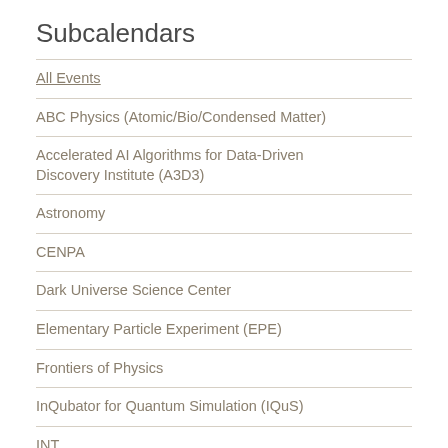Subcalendars
All Events
ABC Physics (Atomic/Bio/Condensed Matter)
Accelerated AI Algorithms for Data-Driven Discovery Institute (A3D3)
Astronomy
CENPA
Dark Universe Science Center
Elementary Particle Experiment (EPE)
Frontiers of Physics
InQubator for Quantum Simulation (IQuS)
INT